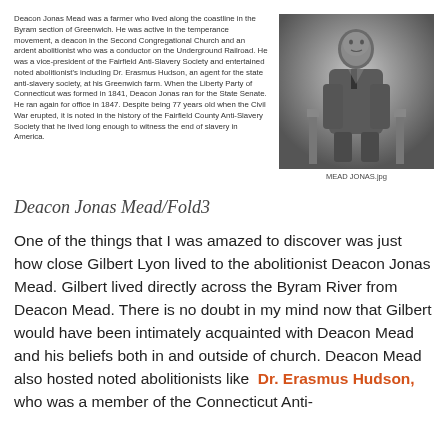Deacon Jonas Mead was a farmer who lived along the coastline in the Byram section of Greenwich. He was active in the temperance movement, a deacon in the Second Congregational Church and an ardent abolitionist who was a conductor on the Underground Railroad. He was a vice-president of the Fairfield Anti-Slavery Society and entertained noted abolitionist's including Dr. Erasmus Hudson, an agent for the state anti-slavery society, at his Greenwich farm. When the Liberty Party of Connecticut was formed in 1841, Deacon Jonas ran for the State Senate. He ran again for office in 1847. Despite being 77 years old when the Civil War erupted, it is noted in the history of the Fairfield County Anti-Slavery Society that he lived long enough to witness the end of slavery in America.
[Figure (photo): Black and white portrait photograph of Deacon Jonas Mead, an elderly man seated, wearing a dark suit.]
MEAD JONAS.jpg
Deacon Jonas Mead/Fold3
One of the things that I was amazed to discover was just how close Gilbert Lyon lived to the abolitionist Deacon Jonas Mead. Gilbert lived directly across the Byram River from Deacon Mead. There is no doubt in my mind now that Gilbert would have been intimately acquainted with Deacon Mead and his beliefs both in and outside of church. Deacon Mead also hosted noted abolitionists like Dr. Erasmus Hudson, who was a member of the Connecticut Anti-